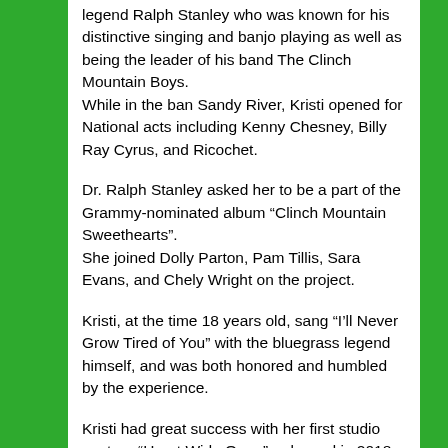legend Ralph Stanley who was known for his distinctive singing and banjo playing as well as being the leader of his band The Clinch Mountain Boys.
While in the ban Sandy River, Kristi opened for National acts including Kenny Chesney, Billy Ray Cyrus, and Ricochet.
Dr. Ralph Stanley asked her to be a part of the Grammy-nominated album “Clinch Mountain Sweethearts”. She joined Dolly Parton, Pam Tillis, Sara Evans, and Chely Wright on the project.
Kristi, at the time 18 years old, sang “I’ll Never Grow Tired of You” with the bluegrass legend himself, and was both honored and humbled by the experience.
Kristi had great success with her first studio venture “Heart Wide Open”, released in 2018. After marriage and two children, she returned to performing.